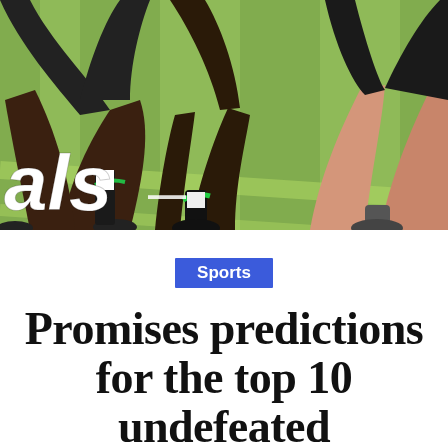[Figure (photo): Athletes on a grass field in sprinting/starting stance; partial view of legs and lower bodies; green grass background with diagonal stripe lines; text overlay showing partial word 'als' in white bold italic]
Sports
Promises predictions for the top 10 undefeated